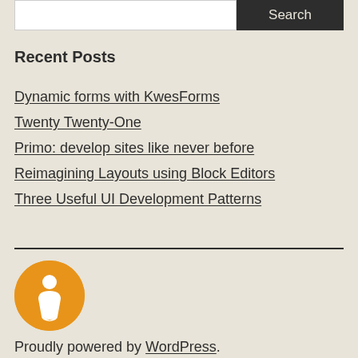[Figure (other): Search bar with white input field on left and dark grey Search button on right]
Recent Posts
Dynamic forms with KwesForms
Twenty Twenty-One
Primo: develop sites like never before
Reimagining Layouts using Block Editors
Three Useful UI Development Patterns
[Figure (logo): Orange circular logo with white 'i' info icon in center]
Proudly powered by WordPress.